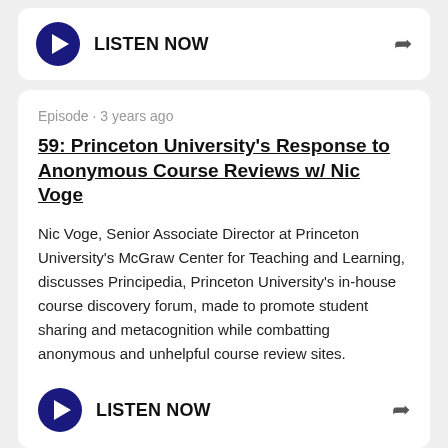[Figure (other): Listen Now button card with play button and share arrow]
Episode · 3 years ago
59: Princeton University's Response to Anonymous Course Reviews w/ Nic Voge
Nic Voge, Senior Associate Director at Princeton University's McGraw Center for Teaching and Learning, discusses Principedia, Princeton University's in-house course discovery forum, made to promote student sharing and metacognition while combatting anonymous and unhelpful course review sites.
[Figure (other): Listen Now button with play button and share arrow]
Episode ·